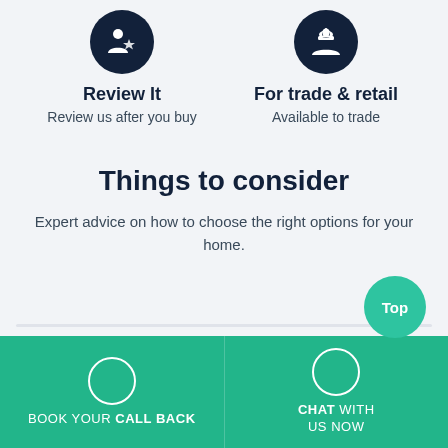[Figure (illustration): Dark navy circle icon with a person with a star/badge graphic (Review It icon)]
Review It
Review us after you buy
[Figure (illustration): Dark navy circle icon with a person with a hard hat graphic (For trade & retail icon)]
For trade & retail
Available to trade
Things to consider
Expert advice on how to choose the right options for your home.
[Figure (other): Teal circular button with 'Top' label]
BOOK YOUR CALL BACK
CHAT WITH US NOW